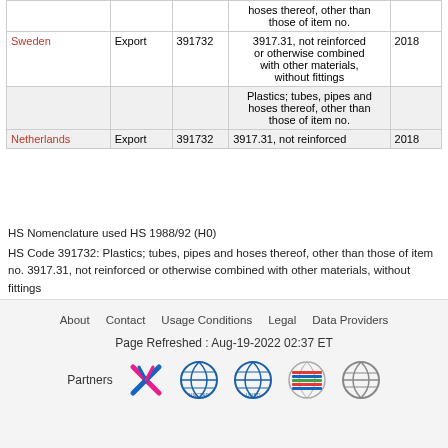| Country | Flow | Code | Description | Year |
| --- | --- | --- | --- | --- |
|  |  |  | hoses thereof, other than those of item no. |  |
| Sweden | Export | 391732 | 3917.31, not reinforced or otherwise combined with other materials, without fittings | 2018 |
|  |  |  | Plastics; tubes, pipes and hoses thereof, other than those of item no. |  |
| Netherlands | Export | 391732 | 3917.31, not reinforced | 2018 |
HS Nomenclature used HS 1988/92 (H0)
HS Code 391732: Plastics; tubes, pipes and hoses thereof, other than those of item no. 3917.31, not reinforced or otherwise combined with other materials, without fittings
Please note : Exports is gross exports and Imports is gross imports
About   Contact   Usage Conditions   Legal   Data Providers
Page Refreshed : Aug-19-2022 02:37 ET
Partners [logos]